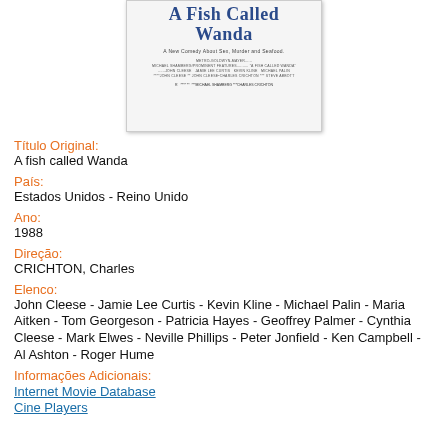[Figure (photo): Movie poster for 'A Fish Called Wanda' showing the title in blue serif font, tagline 'A New Comedy About Sex, Murder and Seafood.' and production credits.]
Título Original:
A fish called Wanda
País:
Estados Unidos - Reino Unido
Ano:
1988
Direção:
CRICHTON, Charles
Elenco:
John Cleese - Jamie Lee Curtis - Kevin Kline - Michael Palin - Maria Aitken - Tom Georgeson - Patricia Hayes - Geoffrey Palmer - Cynthia Cleese - Mark Elwes - Neville Phillips - Peter Jonfield - Ken Campbell - Al Ashton - Roger Hume
Informações Adicionais:
Internet Movie Database
Cine Players